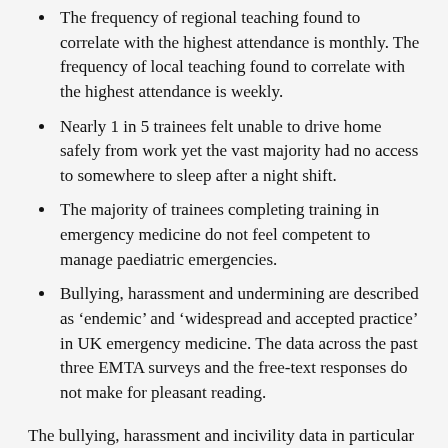The frequency of regional teaching found to correlate with the highest attendance is monthly. The frequency of local teaching found to correlate with the highest attendance is weekly.
Nearly 1 in 5 trainees felt unable to drive home safely from work yet the vast majority had no access to somewhere to sleep after a night shift.
The majority of trainees completing training in emergency medicine do not feel competent to manage paediatric emergencies.
Bullying, harassment and undermining are described as ‘endemic’ and ‘widespread and accepted practice’ in UK emergency medicine. The data across the past three EMTA surveys and the free-text responses do not make for pleasant reading.
The bullying, harassment and incivility data in particular caught attention, and supports the ongoing RCEM project: